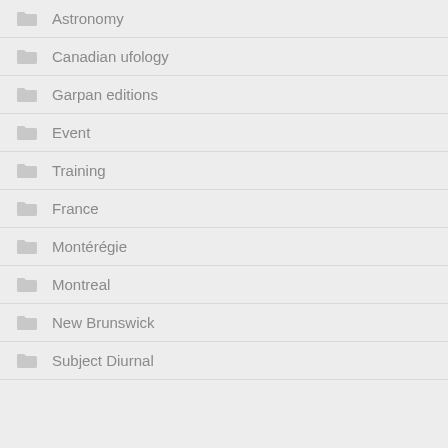Astronomy
Canadian ufology
Garpan editions
Event
Training
France
Montérégie
Montreal
New Brunswick
Subject Diurnal